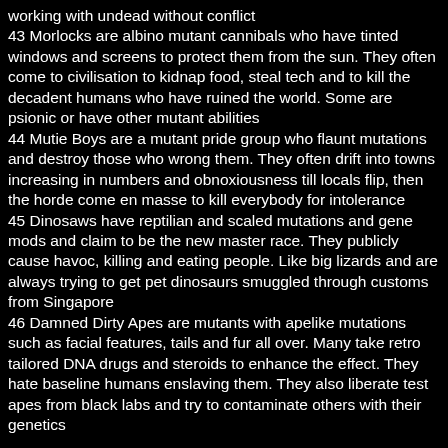working with undead without conflict
43 Morlocks are albino mutant cannibals who have tinted windows and screens to protect them from the sun. They often come to civilisation to kidnap food, steal tech and to kill the decadent humans who have ruined the world. Some are psionic or have other mutant abilities
44 Mutie Boys are a mutant pride group who flaunt mutations and destroy those who wrong them. They often drift into towns increasing in numbers and obnoxiousness till locals flip, then the horde come en masse to kill everybody for intolerance
45 Dinosaws have reptilian and scaled mutations and gene mods and claim to be the new master race. They publicly cause havoc, killing and eating people. Like big lizards and are always trying to get pet dinosaurs smuggled through customs from Singapore
46 Damned Dirty Apes are mutants with apelike mutations such as facial features, tails and fur all over. Many take retro tailored DNA drugs and steroids to enhance the effect. They hate baseline humans enslaving them. They also liberate test apes from black labs and try to contaminate others with their genetics